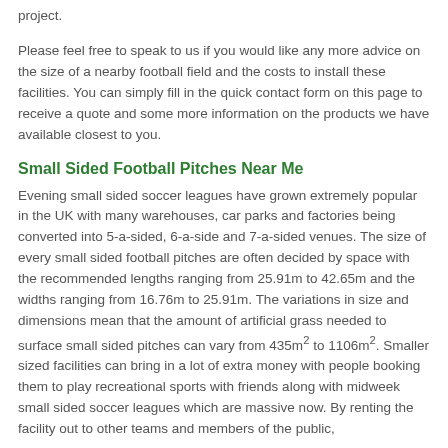project.
Please feel free to speak to us if you would like any more advice on the size of a nearby football field and the costs to install these facilities. You can simply fill in the quick contact form on this page to receive a quote and some more information on the products we have available closest to you.
Small Sided Football Pitches Near Me
Evening small sided soccer leagues have grown extremely popular in the UK with many warehouses, car parks and factories being converted into 5-a-sided, 6-a-side and 7-a-sided venues. The size of every small sided football pitches are often decided by space with the recommended lengths ranging from 25.91m to 42.65m and the widths ranging from 16.76m to 25.91m. The variations in size and dimensions mean that the amount of artificial grass needed to surface small sided pitches can vary from 435m² to 1106m². Smaller sized facilities can bring in a lot of extra money with people booking them to play recreational sports with friends along with midweek small sided soccer leagues which are massive now. By renting the facility out to other teams and members of the public,